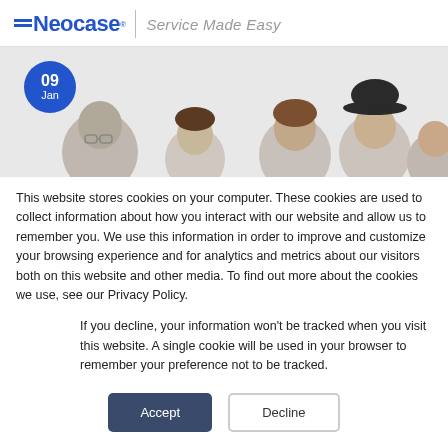Neocase® | Service Made Easy
[Figure (photo): Banner image showing partial heads/faces of several people against a light gray background, with a blue circular date badge showing '09 Jan' in the upper left.]
This website stores cookies on your computer. These cookies are used to collect information about how you interact with our website and allow us to remember you. We use this information in order to improve and customize your browsing experience and for analytics and metrics about our visitors both on this website and other media. To find out more about the cookies we use, see our Privacy Policy.
If you decline, your information won't be tracked when you visit this website. A single cookie will be used in your browser to remember your preference not to be tracked.
Accept  Decline